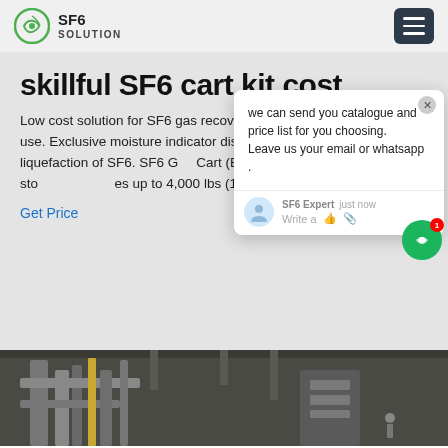SF6 SOLUTION
skillful SF6 cart kit cost
Low cost solution for SF6 gas recovery. Small portable and easy to use. Exclusive moisture indicator displays SF6 "dry" pressure liquefaction of SF6. SF6 Gas Cart (E736A) Full sized line with storage capacities up to 4,000 lbs (1,800 kg).
Get Price
[Figure (screenshot): Chat popup showing message: we can send you catalogue and price list for you choosing. Leave us your email or whatsapp. SF6 Expert just now. Write a message options.]
[Figure (photo): Industrial facility interior showing pipes and equipment.]